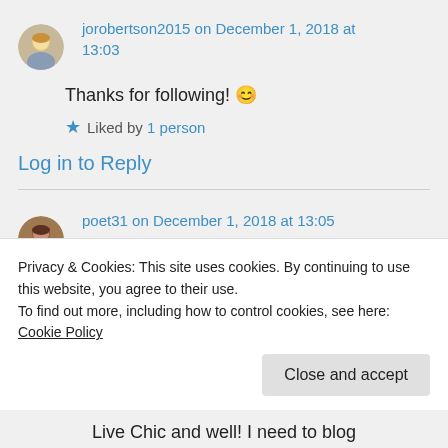jorobertson2015 on December 1, 2018 at 13:03
Thanks for following! 😊
★ Liked by 1 person
Log in to Reply
poet31 on December 1, 2018 at 13:05
Privacy & Cookies: This site uses cookies. By continuing to use this website, you agree to their use. To find out more, including how to control cookies, see here: Cookie Policy
Close and accept
Live Chic and well! I need to blog